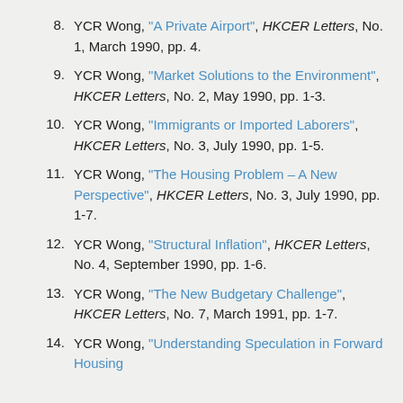8. YCR Wong, "A Private Airport", HKCER Letters, No. 1, March 1990, pp. 4.
9. YCR Wong, "Market Solutions to the Environment", HKCER Letters, No. 2, May 1990, pp. 1-3.
10. YCR Wong, "Immigrants or Imported Laborers", HKCER Letters, No. 3, July 1990, pp. 1-5.
11. YCR Wong, "The Housing Problem – A New Perspective", HKCER Letters, No. 3, July 1990, pp. 1-7.
12. YCR Wong, "Structural Inflation", HKCER Letters, No. 4, September 1990, pp. 1-6.
13. YCR Wong, "The New Budgetary Challenge", HKCER Letters, No. 7, March 1991, pp. 1-7.
14. YCR Wong, "Understanding Speculation in Forward Housing